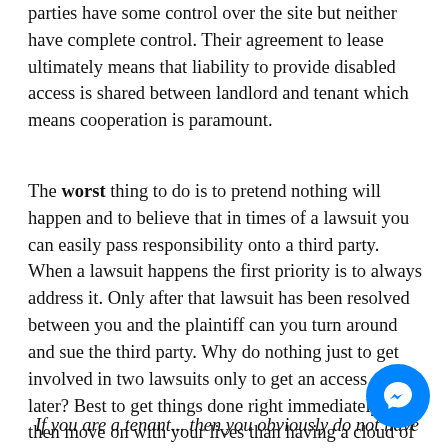parties have some control over the site but neither have complete control. Their agreement to lease ultimately means that liability to provide disabled access is shared between landlord and tenant which means cooperation is paramount.
The worst thing to do is to pretend nothing will happen and to believe that in times of a lawsuit you can easily pass responsibility onto a third party.  When a lawsuit happens the first priority is to always address it.  Only after that lawsuit has been resolved between you and the plaintiff can you turn around and sue the third party.  Why do nothing just to get involved in two lawsuits only to get an access survey later?  Best to get things done right immediately and then move on with your lives than having a cloud of liability bearing down on you.
If you are a tenant... then you obviously do not have